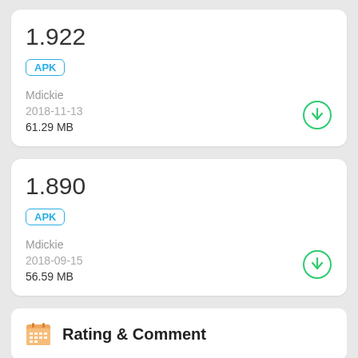1.922
APK
Mdickie
2018-11-13
61.29 MB
1.890
APK
Mdickie
2018-09-15
56.59 MB
Rating & Comment